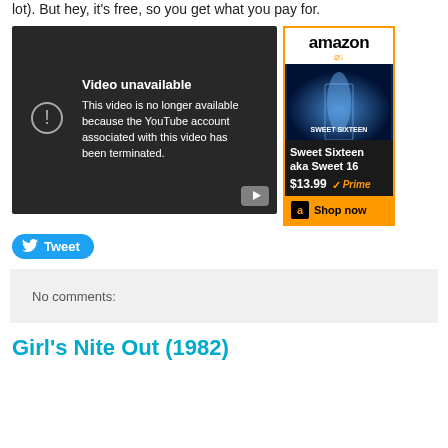lot). But hey, it's free, so you get what you pay for.
[Figure (screenshot): YouTube video unavailable embed showing 'Video unavailable - This video is no longer available because the YouTube account associated with this video has been terminated.']
[Figure (screenshot): Amazon advertisement for 'Sweet Sixteen aka Sweet 16' priced at $13.99 with Prime, showing movie poster and Shop now button]
Tweet
No comments:
Girl's Nite Out (1982)